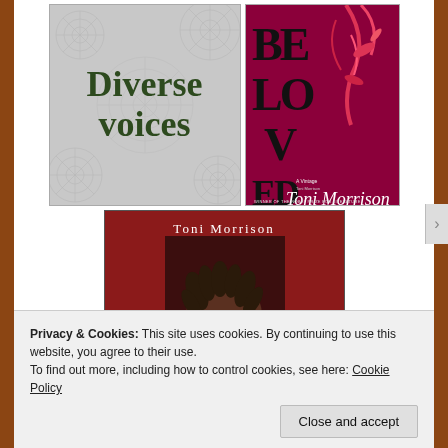[Figure (photo): Book cover: 'Diverse voices' with spider web pattern on grey background, text in dark green serif font]
[Figure (photo): Book cover: 'Beloved' by Toni Morrison, dark red/magenta background with stylized letters and red floral branches, author name in white script, 'Winner of the Nobel Prize for Literature']
[Figure (photo): Photo of Toni Morrison on a red background with her name 'Toni Morrison' in white text at top, showing her face with hands raised]
Privacy & Cookies: This site uses cookies. By continuing to use this website, you agree to their use.
To find out more, including how to control cookies, see here: Cookie Policy
Close and accept